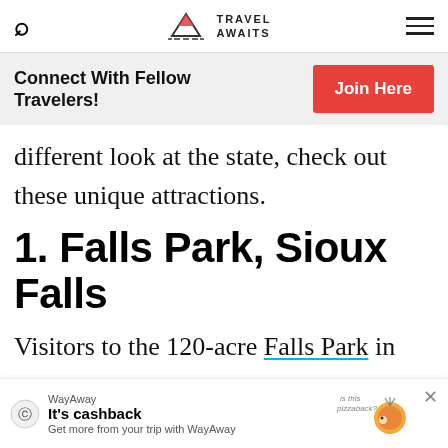Travel Awaits
Connect With Fellow Travelers!  Join Here
different look at the state, check out these unique attractions.
1. Falls Park, Sioux Falls
Visitors to the 120-acre Falls Park in Sioux Falls
[Figure (other): WayAway advertisement banner: 'It's cashback - Get more from your trip with WayAway' with pizza hedgehog illustration]